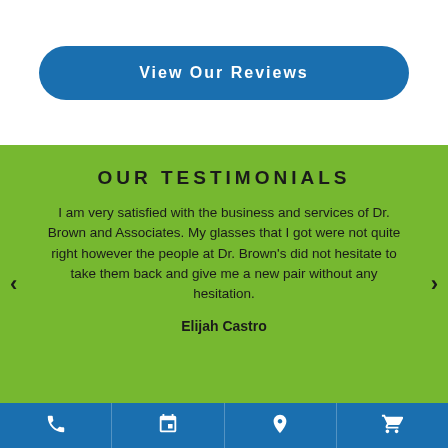[Figure (other): Blue rounded rectangle button labeled 'View Our Reviews']
OUR TESTIMONIALS
I am very satisfied with the business and services of Dr. Brown and Associates. My glasses that I got were not quite right however the people at Dr. Brown's did not hesitate to take them back and give me a new pair without any hesitation.
Elijah Castro
[Figure (other): Blue bottom navigation bar with four icons: phone, calendar, location pin, shopping cart]